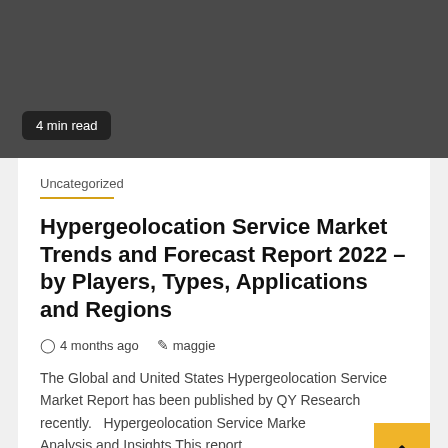4 min read
Uncategorized
Hypergeolocation Service Market Trends and Forecast Report 2022 – by Players, Types, Applications and Regions
4 months ago   maggie
The Global and United States Hypergeolocation Service Market Report has been published by QY Research recently.   Hypergeolocation Service Market Analysis and Insights This report...